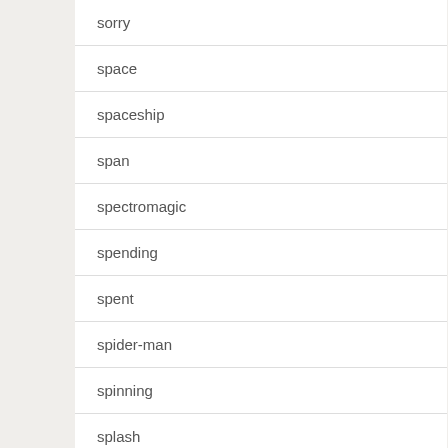sorry
space
spaceship
span
spectromagic
spending
spent
spider-man
spinning
splash
star
starbucks